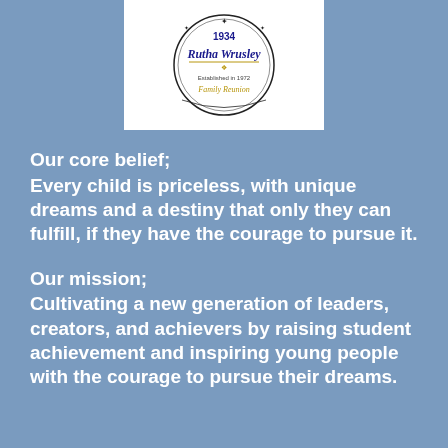[Figure (logo): Circular logo with text '1934 Rutha Wrusley Family Reunion Established in 1872' in blue and gold on white background]
Our core belief;
Every child is priceless, with unique dreams and a destiny that only they can fulfill, if they have the courage to pursue it.
Our mission;
Cultivating a new generation of leaders, creators, and achievers by raising student achievement and inspiring young people with the courage to pursue their dreams.